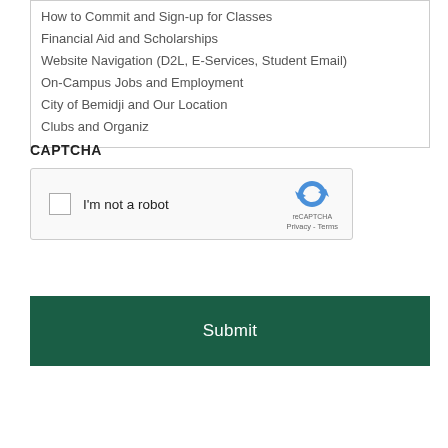How to Commit and Sign-up for Classes
Financial Aid and Scholarships
Website Navigation (D2L, E-Services, Student Email)
On-Campus Jobs and Employment
City of Bemidji and Our Location
Clubs and Organizations
CAPTCHA
[Figure (screenshot): reCAPTCHA widget with checkbox labeled 'I'm not a robot' and reCAPTCHA logo with Privacy - Terms links]
Submit